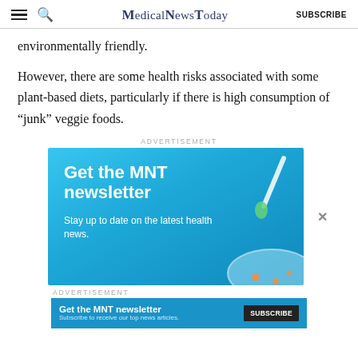MedicalNewsToday — SUBSCRIBE
environmentally friendly.
However, there are some health risks associated with some plant-based diets, particularly if there is high consumption of “junk” veggie foods.
ADVERTISEMENT
[Figure (infographic): MNT newsletter advertisement banner with blue gradient background, pipette dropper graphic, petri dish illustration. Text reads: Get the MNT newsletter. Stay up to date on the latest health news.]
ADVERTISEMENT
[Figure (infographic): MNT newsletter bottom bar ad: Get the MNT newsletter. Subscribe to receive our top news articles. SUBSCRIBE button.]